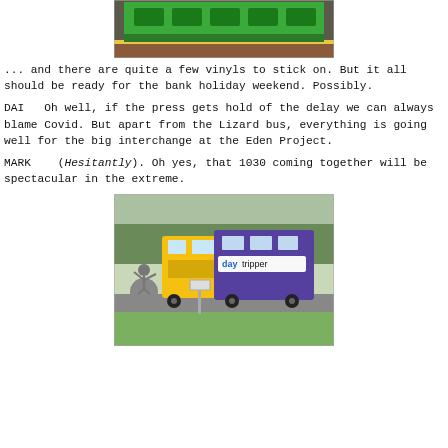[Figure (photo): Top portion of a green bus at a bus stop with yellow hazard markings on the ground]
... and there are quite a few vinyls to stick on. But it all should be ready for the bank holiday weekend. Possibly.
DAI  Oh well, if the press gets hold of the delay we can always blame Covid. But apart from the Lizard bus, everything is going well for the big interchange at the Eden Project.
MARK  (Hesitantly). Oh yes, that 1030 coming together will be spectacular in the extreme.
[Figure (photo): A double-decker bus with 'daytripper' branding (yellow and purple) parked near a roundabout sculpture of a figure balancing on a globe, trees in background]